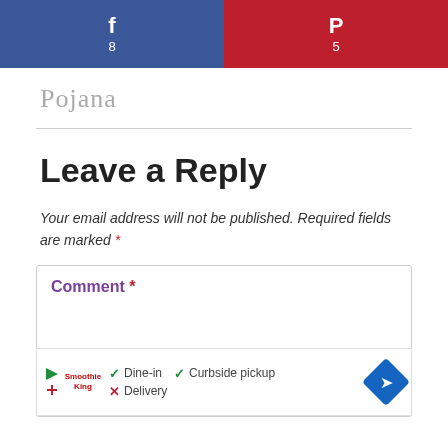[Figure (other): Social share bar with Facebook (f, 8) on left blue background and Pinterest (P, 5) on right red background]
[Figure (other): Cursive signature text in light gray]
Leave a Reply
Your email address will not be published. Required fields are marked *
Comment *
[Figure (screenshot): Ad bar showing Smoothie King logo with Dine-in, Curbside pickup, Delivery options and navigation icon]